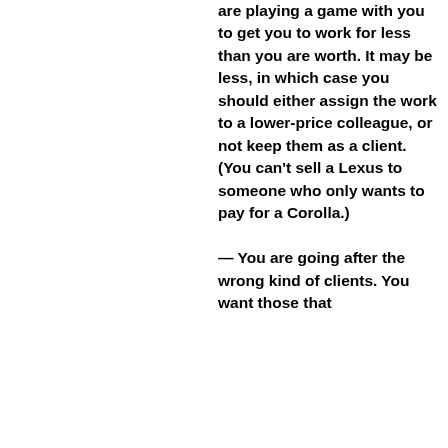are playing a game with you to get you to work for less than you are worth. It may be less, in which case you should either assign the work to a lower-price colleague, or not keep them as a client. (You can't sell a Lexus to someone who only wants to pay for a Corolla.)

— You are going after the wrong kind of clients. You want those that